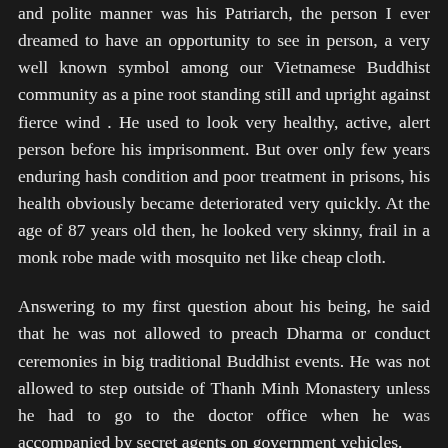and polite manner was his Patriarch, the person I ever dreamed to have an opportunity to see in person, a very well known symbol among our Vietnamese Buddhist community as a pine root standing still and upright against fierce wind . He used to look very healthy, active, alert person before his imprisonment. But over only few years enduring hash condition and poor treatment in prisons, his health obviously became deteriorated very quickly. At the age of 87 years old then, he looked very skinny, frail in a monk robe made with mosquito net like cheap cloth.
Answering to my first question about his being, he said that he was not allowed to preach Dharma or conduct ceremonies in big traditional Buddhist events. He was not allowed to step outside of Thanh Minh Monastery unless he had to go to the doctor office when he was accompanied by secret agents on government vehicles.